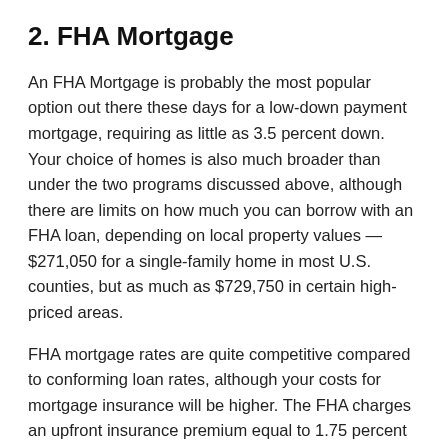2. FHA Mortgage
An FHA Mortgage is probably the most popular option out there these days for a low-down payment mortgage, requiring as little as 3.5 percent down. Your choice of homes is also much broader than under the two programs discussed above, although there are limits on how much you can borrow with an FHA loan, depending on local property values — $271,050 for a single-family home in most U.S. counties, but as much as $729,750 in certain high-priced areas.
FHA mortgage rates are quite competitive compared to conforming loan rates, although your costs for mortgage insurance will be higher. The FHA charges an upfront insurance premium equal to 1.75 percent of the amount borrowed at the time the loan is closed, plus an annual premium that can be as much as 1.25 percent of the loan